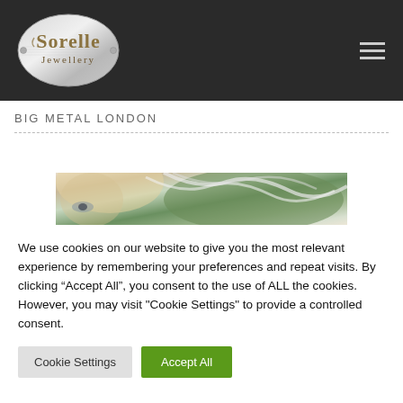[Figure (logo): Sorelle Jewellery logo — oval silver brushed-metal shape with 'Sorelle' in gold serif text and 'Jewellery' below in smaller text]
[Figure (illustration): Hamburger menu icon (three horizontal lines) in gray on dark background]
BIG METAL LONDON
[Figure (photo): Partial photo of a blonde woman with wind-blown hair against a green leafy background, cropped to show upper face and hair]
We use cookies on our website to give you the most relevant experience by remembering your preferences and repeat visits. By clicking “Accept All”, you consent to the use of ALL the cookies. However, you may visit "Cookie Settings" to provide a controlled consent.
Cookie Settings
Accept All